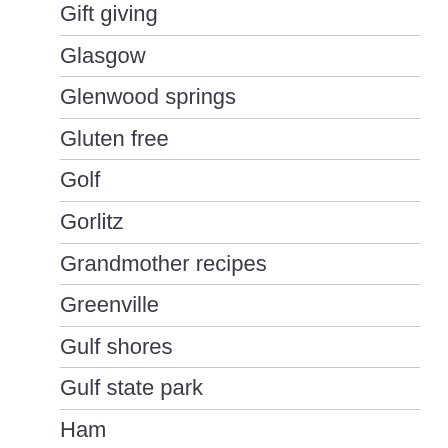Gift giving
Glasgow
Glenwood springs
Gluten free
Golf
Gorlitz
Grandmother recipes
Greenville
Gulf shores
Gulf state park
Ham
Hawaii
Heads up to happy hour
Helpful hints
Highlands